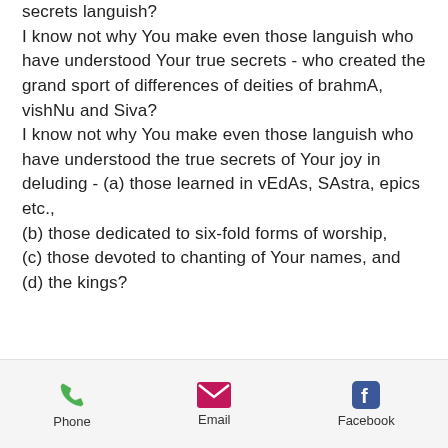secrets languish?
I know not why You make even those languish who have understood Your true secrets - who created the grand sport of differences of deities of brahmA, vishNu and Siva?
I know not why You make even those languish who have understood the true secrets of Your joy in deluding - (a) those learned in vEdAs, SAstra, epics etc., (b) those dedicated to six-fold forms of worship, (c) those devoted to chanting of Your names, and (d) the kings?
Phone  Email  Facebook